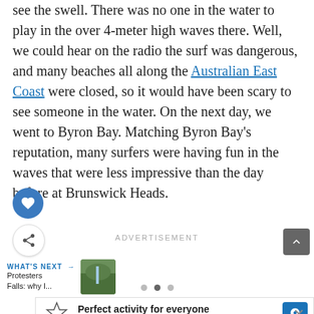see the swell. There was no one in the water to play in the over 4-meter high waves there. Well, we could hear on the radio the surf was dangerous, and many beaches all along the Australian East Coast were closed, so it would have been scary to see someone in the water. On the next day, we went to Byron Bay. Matching Byron Bay's reputation, many surfers were having fun in the waves that were less impressive than the day before at Brunswick Heads.
ADVERTISEMENT
WHAT'S NEXT → Protesters Falls: why I...
[Figure (photo): Thumbnail image of a waterfall or nature scene (greenery visible)]
Perfect activity for everyone Topgolf